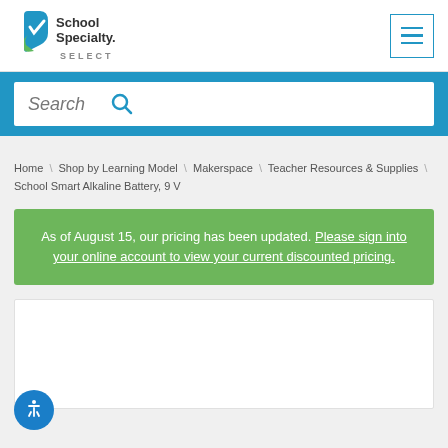[Figure (logo): School Specialty SELECT logo with blue and green checkmark-like icon]
Search
Home \ Shop by Learning Model \ Makerspace \ Teacher Resources & Supplies \ School Smart Alkaline Battery, 9 V
As of August 15, our pricing has been updated. Please sign into your online account to view your current discounted pricing.